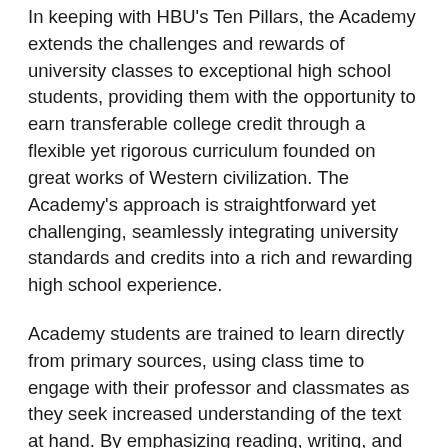In keeping with HBU's Ten Pillars, the Academy extends the challenges and rewards of university classes to exceptional high school students, providing them with the opportunity to earn transferable college credit through a flexible yet rigorous curriculum founded on great works of Western civilization. The Academy's approach is straightforward yet challenging, seamlessly integrating university standards and credits into a rich and rewarding high school experience.
Academy students are trained to learn directly from primary sources, using class time to engage with their professor and classmates as they seek increased understanding of the text at hand. By emphasizing reading, writing, and critical thinking, the Academy seeks to cultivate skills that transcend academic disciplines and are both applicable and necessary for all college majors and career paths.